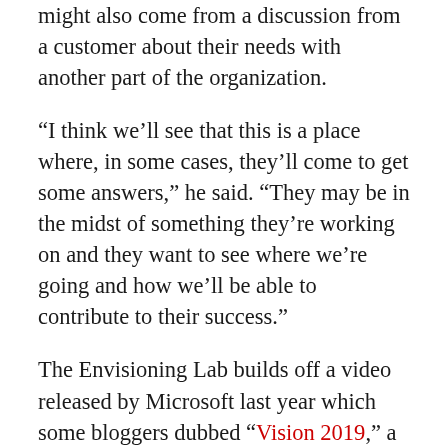might also come from a discussion from a customer about their needs with another part of the organization.
“I think we’ll see that this is a place where, in some cases, they’ll come to get some answers,” he said. “They may be in the midst of something they’re working on and they want to see where we’re going and how we’ll be able to contribute to their success.”
The Envisioning Lab builds off a video released by Microsoft last year which some bloggers dubbed “Vision 2019,” a long-term look at how touch, gestures, speech and scanning could become a more common way for users to interact with technology. The clip showed a variety of scenarios in which people scribbled on “air screens,” used airplane boarding passes as personal computers and were directed to their destination by smart floor tiles which lit up with